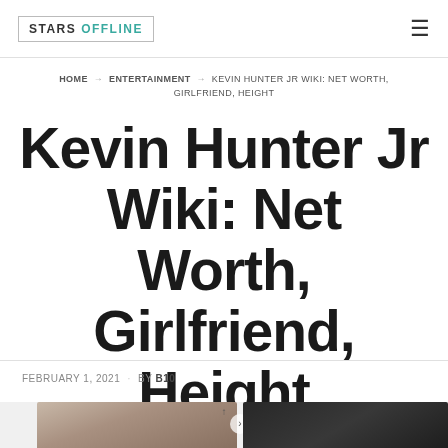STARS OFFLINE
HOME → ENTERTAINMENT → KEVIN HUNTER JR WIKI: NET WORTH, GIRLFRIEND, HEIGHT
Kevin Hunter Jr Wiki: Net Worth, Girlfriend, Height
FEBRUARY 1, 2021 · By B10
[Figure (photo): Two side-by-side photos partially visible at bottom of page]